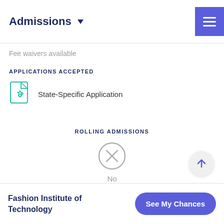Admissions
Fee waivers available
APPLICATIONS ACCEPTED
State-Specific Application
ROLLING ADMISSIONS
No
Fashion Institute of Technology  See My Chances